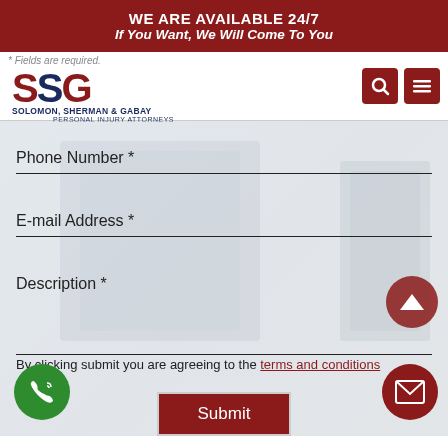WE ARE AVAILABLE 24/7
If You Want, We Will Come To You
[Figure (logo): SSG Solomon, Sherman & Gabay Personal Injury Attorneys logo with red and navy text]
* Fields are required.
Phone Number *
E-mail Address *
Description *
By clicking submit you are agreeing to the terms and conditions